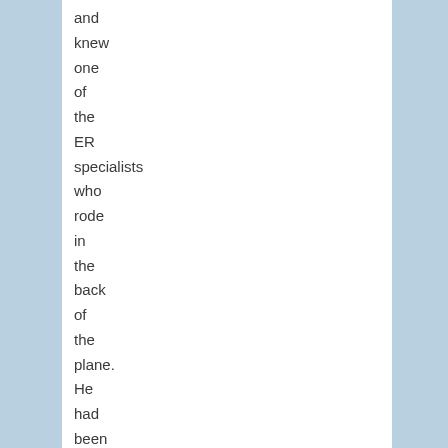and knew one of the ER specialists who rode in the back of the plane. He had been part of the original P4M